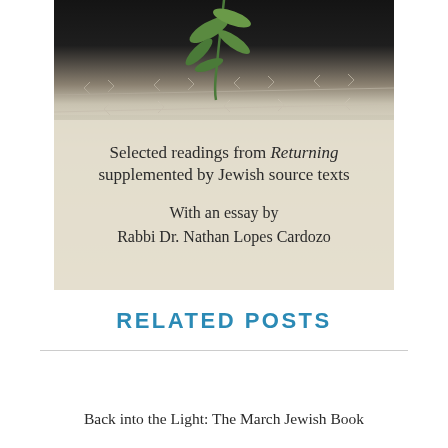[Figure (illustration): Book cover image showing barbed wire with a green plant growing through it, against a dark-to-light gradient background. Text on the cover reads: 'Selected readings from Returning supplemented by Jewish source texts / With an essay by Rabbi Dr. Nathan Lopes Cardozo']
RELATED POSTS
Back into the Light: The March Jewish Book